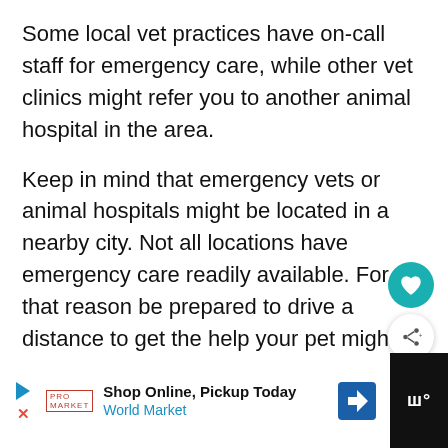Some local vet practices have on-call staff for emergency care, while other vet clinics might refer you to another animal hospital in the area.
Keep in mind that emergency vets or animal hospitals might be located in a nearby city. Not all locations have emergency care readily available. For that reason be prepared to drive a distance to get the help your pet might need.
[Figure (other): Teal circular heart/favorite button]
[Figure (other): White circular share button with share icon]
[Figure (other): Advertisement bar at bottom: Shop Online, Pickup Today - World Market with navigation arrow icon, and dark right panel showing 'w°']